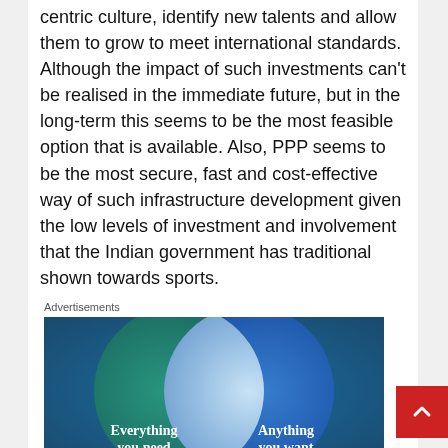centric culture, identify new talents and allow them to grow to meet international standards. Although the impact of such investments can't be realised in the immediate future, but in the long-term this seems to be the most feasible option that is available. Also, PPP seems to be the most secure, fast and cost-effective way of such infrastructure development given the low levels of investment and involvement that the Indian government has traditional shown towards sports.
Advertisements
[Figure (illustration): Advertisement banner showing a Venn diagram with two overlapping circles on a blue-green gradient background. Left circle (teal/green) labeled 'Everything you need', right circle (blue) labeled 'Anything you want'. The overlapping region is shown in light blue/white.]